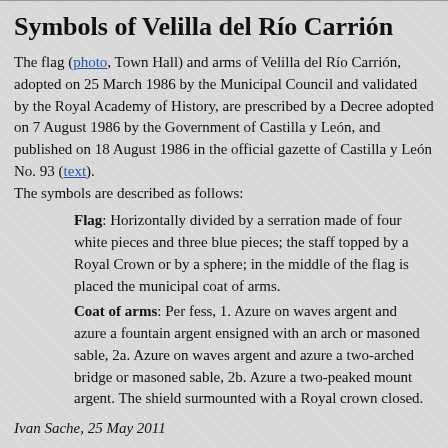Symbols of Velilla del Río Carrión
The flag (photo, Town Hall) and arms of Velilla del Río Carrión, adopted on 25 March 1986 by the Municipal Council and validated by the Royal Academy of History, are prescribed by a Decree adopted on 7 August 1986 by the Government of Castilla y León, and published on 18 August 1986 in the official gazette of Castilla y León No. 93 (text). The symbols are described as follows:
Flag: Horizontally divided by a serration made of four white pieces and three blue pieces; the staff topped by a Royal Crown or by a sphere; in the middle of the flag is placed the municipal coat of arms.
Coat of arms: Per fess, 1. Azure on waves argent and azure a fountain argent ensigned with an arch or masoned sable, 2a. Azure on waves argent and azure a two-arched bridge or masoned sable, 2b. Azure a two-peaked mount argent. The shield surmounted with a Royal crown closed.
Ivan Sache, 25 May 2011